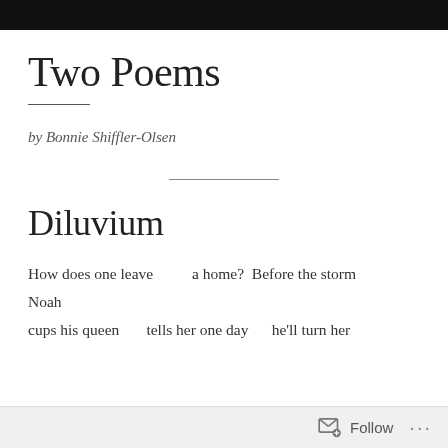Two Poems
by Bonnie Shiffler-Olsen
Diluvium
How does one leave          a home?  Before the storm
Noah
cups his queen       tells her one day      he'll turn her
Follow